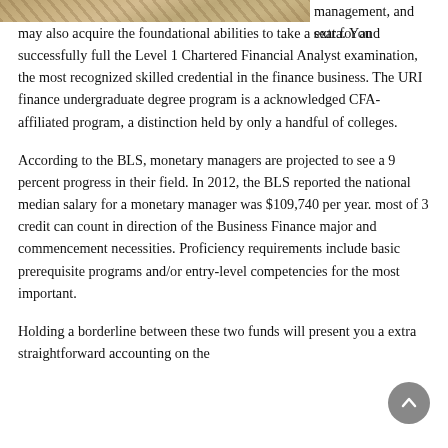[Figure (photo): Partial photo visible at top left, showing a diagonal textured surface in warm tan/gold tones]
management, and extra. You may also acquire the foundational abilities to take a seat for and successfully full the Level 1 Chartered Financial Analyst examination, the most recognized skilled credential in the finance business. The URI finance undergraduate degree program is a acknowledged CFA-affiliated program, a distinction held by only a handful of colleges.
According to the BLS, monetary managers are projected to see a 9 percent progress in their field. In 2012, the BLS reported the national median salary for a monetary manager was $109,740 per year. most of 3 credit can count in direction of the Business Finance major and commencement necessities. Proficiency requirements include basic prerequisite programs and/or entry-level competencies for the most important.
Holding a borderline between these two funds will present you a extra straightforward accounting on the